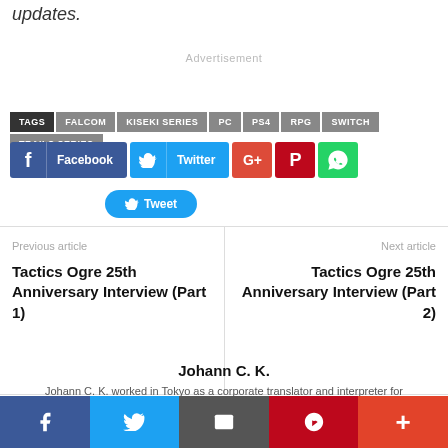updates.
Advertisement
TAGS  FALCOM  KISEKI SERIES  PC  PS4  RPG  SWITCH  TRAILS SERIES
[Figure (infographic): Social share buttons: Facebook, Twitter, Google+, Pinterest, WhatsApp, and Tweet button]
Previous article
Tactics Ogre 25th Anniversary Interview (Part 1)
Next article
Tactics Ogre 25th Anniversary Interview (Part 2)
Johann C. K.
Johann C. K. worked in Tokyo as a corporate translator and interpreter for
[Figure (infographic): Bottom social share bar: Facebook, Twitter, Email, Pinterest, More buttons]